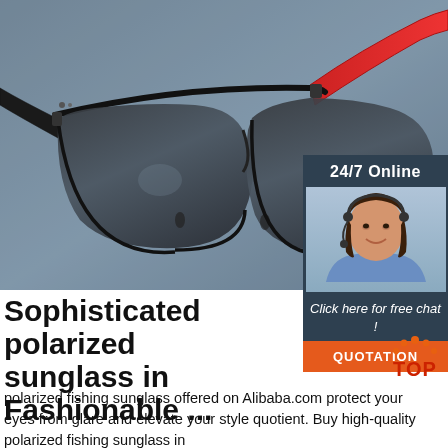[Figure (photo): Close-up photo of black sporty polarized sunglasses with red arms on a gray-blue background]
24/7 Online
[Figure (photo): Customer service agent woman wearing a headset, smiling]
Click here for free chat !
QUOTATION
Sophisticated polarized sunglass in Fashionable ...
[Figure (logo): TOP logo — circular orange dots above red TOP text]
polarized fishing sunglass offered on Alibaba.com protect your eyes from glare and elevate your style quotient. Buy high-quality polarized fishing sunglass in